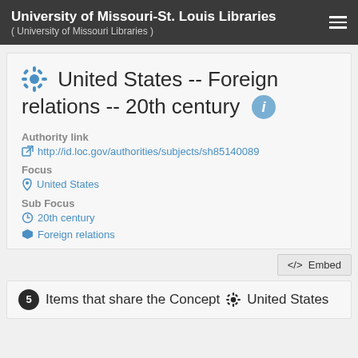University of Missouri-St. Louis Libraries ( University of Missouri Libraries )
United States -- Foreign relations -- 20th century
Authority link
http://id.loc.gov/authorities/subjects/sh85140089
Focus
United States
Sub Focus
20th century
Foreign relations
</>  Embed
5 Items that share the Concept  United States